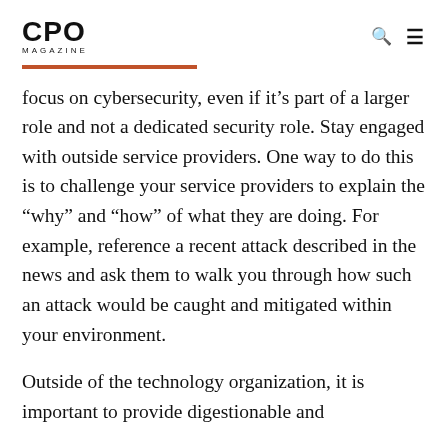CPO MAGAZINE
focus on cybersecurity, even if it’s part of a larger role and not a dedicated security role. Stay engaged with outside service providers. One way to do this is to challenge your service providers to explain the “why” and “how” of what they are doing. For example, reference a recent attack described in the news and ask them to walk you through how such an attack would be caught and mitigated within your environment.
Outside of the technology organization, it is important to provide digestionable and